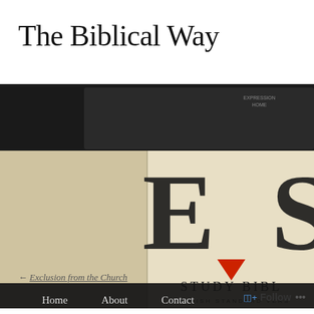The Biblical Way
[Figure (photo): Close-up photograph of an ESV Study Bible (English Standard Version) with a dark cover/case visible in the background. The Bible cover shows large letters 'ES' and below them a red downward triangle, with 'STUDY BIBL' and 'ENGLISH STANDARD VERS' text visible at an angle.]
Home   About   Contact
← Exclusion from the Church
Follow ...